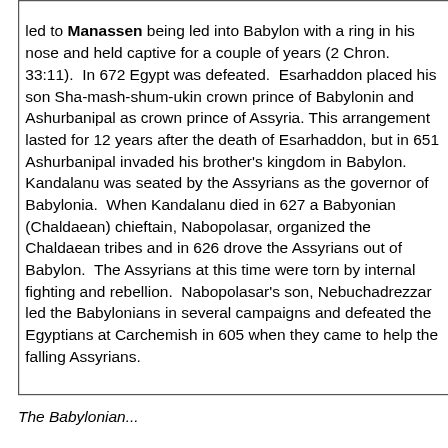led to Manassen being led into Babylon with a ring in his nose and held captive for a couple of years (2 Chron. 33:11).  In 672 Egypt was defeated.  Esarhaddon placed his son Sha-mash-shum-ukin crown prince of Babylonin and Ashurbanipal as crown prince of Assyria.  This arrangement lasted for 12 years after the death of Esarhaddon, but in 651 Ashurbanipal invaded his brother's kingdom in Babylon.  Kandalanu was seated by the Assyrians as the governor of Babylonia.  When Kandalanu died in 627 a Babyonian (Chaldaean) chieftain, Nabopolasar, organized the Chaldaean tribes and in 626 drove the Assyrians out of Babylon.  The Assyrians at this time were torn by internal fighting and rebellion.  Nabopolasar's son, Nebuchadrezzar led the Babylonians in several campaigns and defeated the Egyptians at Carchemish in 605 when they came to help the falling Assyrians.
The Babylonian...